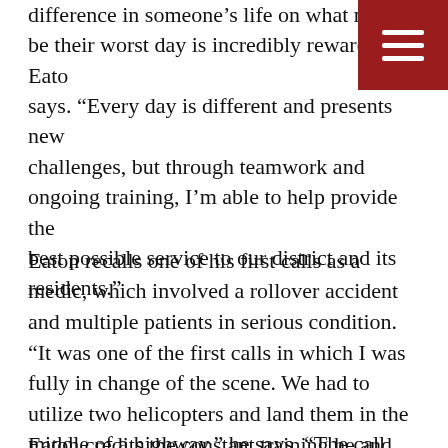difference in someone’s life on what might be their worst day is incredibly rewarding,” Eaton says. “Every day is different and presents new challenges, but through teamwork and ongoing training, I’m able to help provide the best possible service to our district and its residents.”
Eaton recalls one of his first calls as a medic, which involved a rollover accident and multiple patients in serious condition.
“It was one of the first calls in which I was fully in change of the scene. We had to utilize two helicopters and land them in the middle of a highway,” he says. “The call was stressful but went very smoothly.”
Eaton credits the constant training he and his